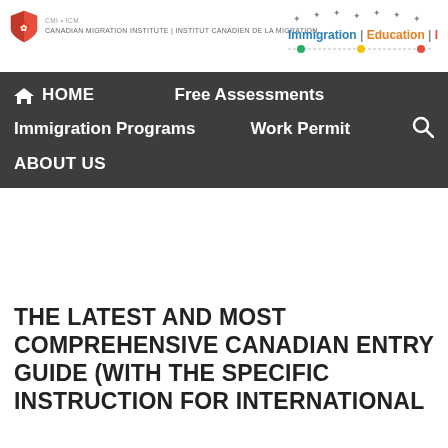[Figure (logo): Canadian Migration Institute logo with shield and text: CANADIAN MIGRATION INSTITUTE | INSTITUT CANADIEN DE LA MIGRATION]
[Figure (logo): Immigration | Education | Integration logo with stars and colored dots]
HOME  Free Assessments  Immigration Programs  Work Permit  ABOUT US
THE LATEST AND MOST COMPREHENSIVE CANADIAN ENTRY GUIDE (WITH THE SPECIFIC INSTRUCTION FOR INTERNATIONAL